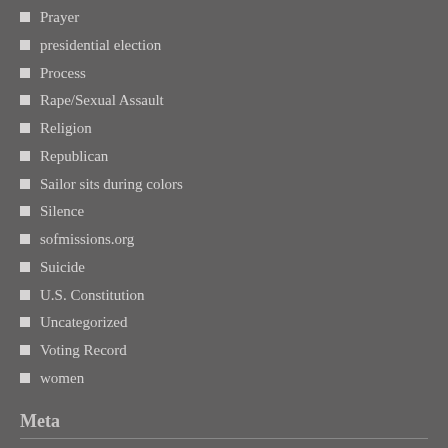Prayer
presidential election
Process
Rape/Sexual Assault
Religion
Republican
Sailor sits during colors
Silence
sofmissions.org
Suicide
U.S. Constitution
Uncategorized
Voting Record
women
Meta
Register
Log in
Entries feed
Comments feed
WordPress.com